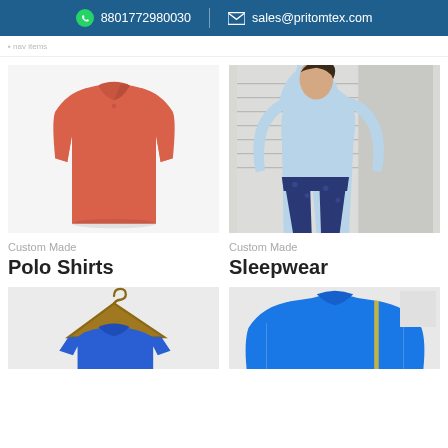8801772980030  sales@pritomtex.com
[Figure (photo): Orange/red polo shirt on white background]
Custom Made
Polo Shirts
[Figure (photo): Woman wearing light blue cold-shoulder top and navy floral shorts]
Custom Made
Sleepwear
[Figure (photo): Blue t-shirt on wooden hanger, light background]
[Figure (photo): Blue long-sleeve shirt, partial view]